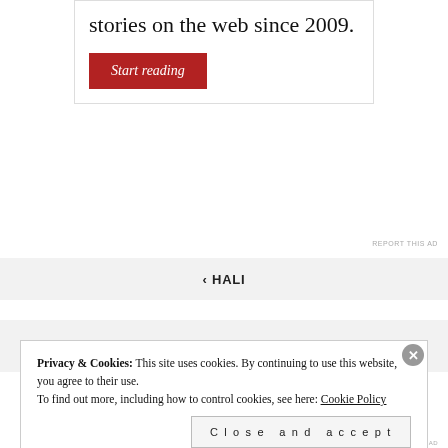stories on the web since 2009.
[Figure (other): Red 'Start reading' button]
REPORT THIS AD
‹ HALI
YOUR COACH
Privacy & Cookies: This site uses cookies. By continuing to use this website, you agree to their use.
To find out more, including how to control cookies, see here: Cookie Policy
Close and accept
REPORT THIS AD